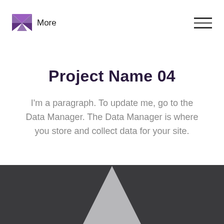[Figure (logo): Purple geometric W-shaped logo made of triangular facets]
More
[Figure (illustration): Hamburger menu icon with three horizontal lines]
Project Name 04
I'm a paragraph. To update me, go to the Data Manager. The Data Manager is where you store and collect data for your site.
[Figure (illustration): Dark gray band at bottom with a white/light gray triangle shape partially visible]